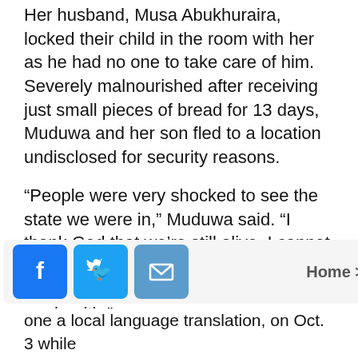Her husband, Musa Abukhuraira, locked their child in the room with her as he had no one to take care of him. Severely malnourished after receiving just small pieces of bread for 13 days, Muduwa and her son fled to a location undisclosed for security reasons.
“People were very shocked to see the state we were in,” Muduwa said. “I thank God that we’re still alive. I cannot think rightly at the moment. We need prayers so that God my restore back our health.”
Mother and son have received no medical treatment, but she sold some chicken to help pay for medicine, Muduwa said.
[Figure (infographic): Social share bar with Facebook, Twitter, and email icons, and a Home link]
one a local language translation, on Oct. 3 while